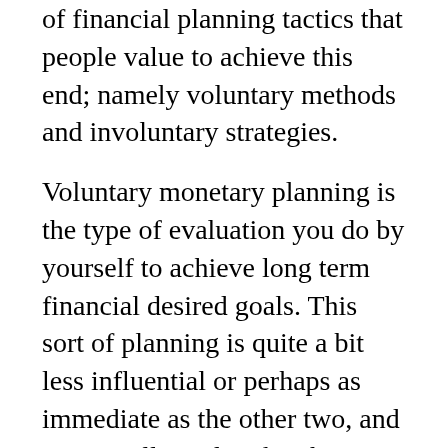of financial planning tactics that people value to achieve this end; namely voluntary methods and involuntary strategies.
Voluntary monetary planning is the type of evaluation you do by yourself to achieve long term financial desired goals. This sort of planning is quite a bit less influential or perhaps as immediate as the other two, and is generally undertaken being a method of self-expression and pursuit. This involves several self-evaluate and self-monitoring operations designed to help you identify and finally achieve the desired goals. For instance , if you're considering purchasing a new home or perhaps starting up your small business, you may decide that it's https://financeals.com/financial-thinking-and-planning/ important to screen and record your budget so as to better appreciate and control your